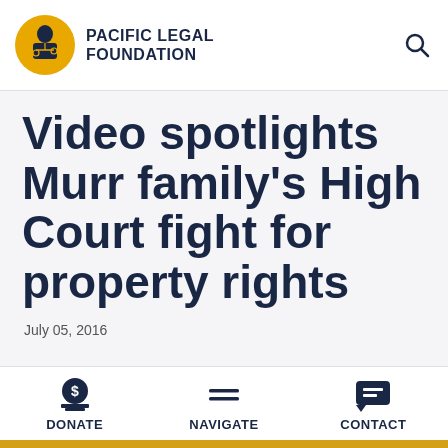[Figure (logo): Pacific Legal Foundation logo — circular yellow badge with figure of justice, text PACIFIC LEGAL FOUNDATION in bold navy]
Video spotlights Murr family's High Court fight for property rights
July 05, 2016
DONATE   NAVIGATE   CONTACT